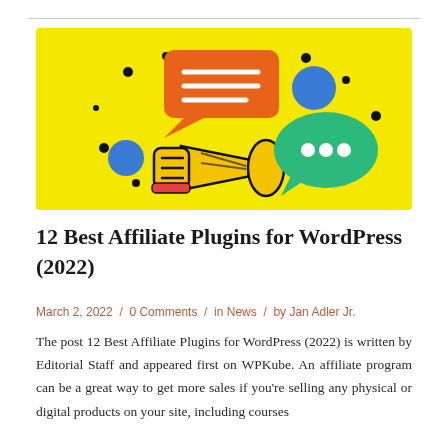[Figure (illustration): Yellow background illustration with a megaphone/loudspeaker in orange and yellow, an orange speech bubble with lines at top left, a green speech bubble with three dots at right, and small dot decorations scattered around, all on a bright yellow rectangle background.]
12 Best Affiliate Plugins for WordPress (2022)
March 2, 2022 / 0 Comments / in News / by Jan Adler Jr.
The post 12 Best Affiliate Plugins for WordPress (2022) is written by Editorial Staff and appeared first on WPKube. An affiliate program can be a great way to get more sales if you're selling any physical or digital products on your site, including courses